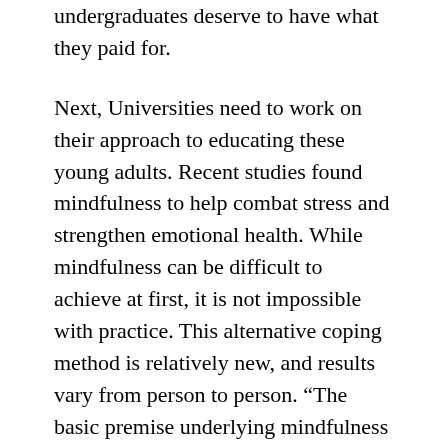undergraduates deserve to have what they paid for.
Next, Universities need to work on their approach to educating these young adults. Recent studies found mindfulness to help combat stress and strengthen emotional health. While mindfulness can be difficult to achieve at first, it is not impossible with practice. This alternative coping method is relatively new, and results vary from person to person. “The basic premise underlying mindfulness practices is that experiencing the present moment nonjudgmentally and openly can effectively counter the effects of stressors, it can help students remain focused and calm”